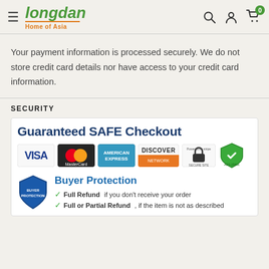Longdan Home of Asia — navigation header with search, account, cart icons
Your payment information is processed securely. We do not store credit card details nor have access to your credit card information.
SECURITY
[Figure (infographic): Guaranteed SAFE Checkout banner with VISA, MasterCard, American Express, Discover Network, Stripe, and AES-256bit security logos, plus Buyer Protection with Full Refund and Full or Partial Refund guarantees]